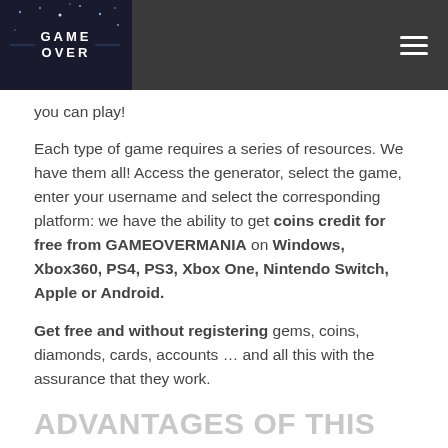GAME OVER [logo] with hamburger menu
you can play!
Each type of game requires a series of resources. We have them all! Access the generator, select the game, enter your username and select the corresponding platform: we have the ability to get coins credit for free from GAMEOVERMANIA on Windows, Xbox360, PS4, PS3, Xbox One, Nintendo Switch, Apple or Android.
Get free and without registering gems, coins, diamonds, cards, accounts … and all this with the assurance that they work.
ADVANTAGES OF THIS GAMEOVERMANIA COINS CREDIT GENERATOR